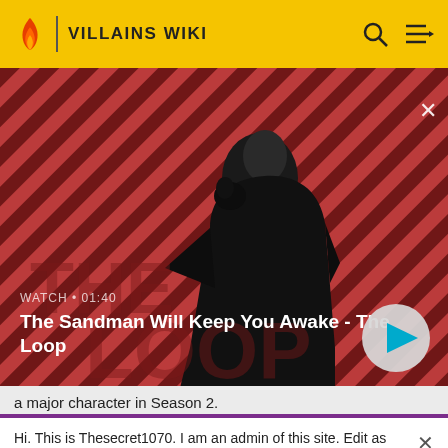VILLAINS WIKI
[Figure (screenshot): Video thumbnail showing a dark figure with a bird on shoulder against a red and dark striped background. Text overlay: WATCH • 01:40 / The Sandman Will Keep You Awake - The Loop]
a major character in Season 2.
Hi. This is Thesecret1070. I am an admin of this site. Edit as much as you wish, but one little thing... If you are going to edit a lot, then make yourself a user and login. Other than that, enjoy Villains Wiki!!!